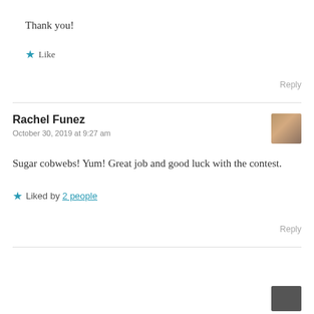Thank you!
★ Like
Reply
Rachel Funez
October 30, 2019 at 9:27 am
[Figure (photo): User avatar photo of Rachel Funez]
Sugar cobwebs! Yum! Great job and good luck with the contest.
★ Liked by 2 people
Reply